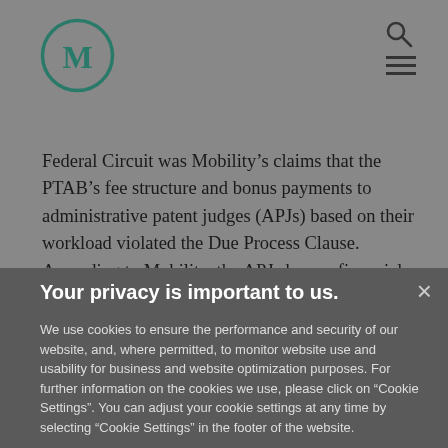M logo, search icon, hamburger menu
Federal Circuit was Mobility’s claims that the PTAB’s fee structure and bonus payments to administrative patent judges (APJs) based on their workload violated the Due Process Clause. According to Mobility, the APJs have a financial incentive to institute IPRs (i.e., significant fees),
Your privacy is important to us.
We use cookies to ensure the performance and security of our website, and, where permitted, to monitor website use and usability for business and website optimization purposes. For further information on the cookies we use, please click on "Cookie Settings". You can adjust your cookie settings at any time by selecting "Cookie Settings" in the footer of the website.